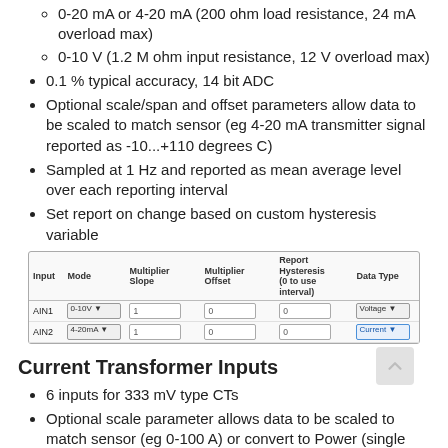0-20 mA or 4-20 mA (200 ohm load resistance, 24 mA overload max)
0-10 V (1.2 M ohm input resistance, 12 V overload max)
0.1 % typical accuracy, 14 bit ADC
Optional scale/span and offset parameters allow data to be scaled to match sensor (eg 4-20 mA transmitter signal reported as -10...+110 degrees C)
Sampled at 1 Hz and reported as mean average level over each reporting interval
Set report on change based on custom hysteresis variable
| Input | Mode | Multiplier Slope | Multiplier Offset | Report Hysteresis (0 to use interval) | Data Type |
| --- | --- | --- | --- | --- | --- |
| AIN1 | 0-10V | 1 | 0 | 0 | Voltage |
| AIN2 | 4-20mA | 1 | 0 | 0 | Current |
Current Transformer Inputs
6 inputs for 333 mV type CTs
Optional scale parameter allows data to be scaled to match sensor (eg 0-100 A) or convert to Power (single phase)
Current sampled at 1 Hz and reported